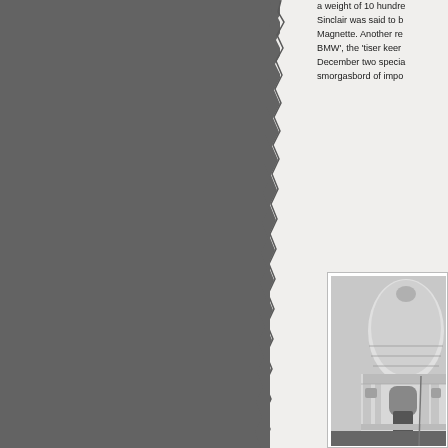[Figure (photo): Grey torn-paper textured panel occupying the left portion of the page, with a ragged torn edge on the right side creating an irregular border.]
a weight of 10 hundre... Sinclair was said to b... Magnette. Another re... BMW', the 'tiser keen... December two specia... smorgasbord of impo...
[Figure (photo): Black and white photograph of a classical domed building, showing ornate architectural details including a large dome, columns, arched windows, and decorative stonework. The image is partially cropped.]